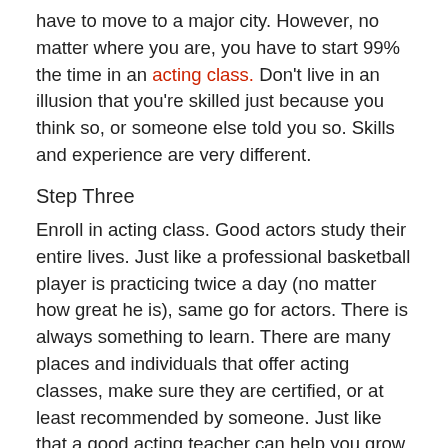have to move to a major city. However, no matter where you are, you have to start 99% the time in an acting class. Don't live in an illusion that you're skilled just because you think so, or someone else told you so. Skills and experience are very different.
Step Three
Enroll in acting class. Good actors study their entire lives. Just like a professional basketball player is practicing twice a day (no matter how great he is), same go for actors. There is always something to learn. There are many places and individuals that offer acting classes, make sure they are certified, or at least recommended by someone. Just like that a good acting teacher can help you grow, a bad one can hurt your career. Choose wisely.
Step Four
Get a headshot. It doesn't have to be a great, expensive photographer, but it needs to be a great shot. My first